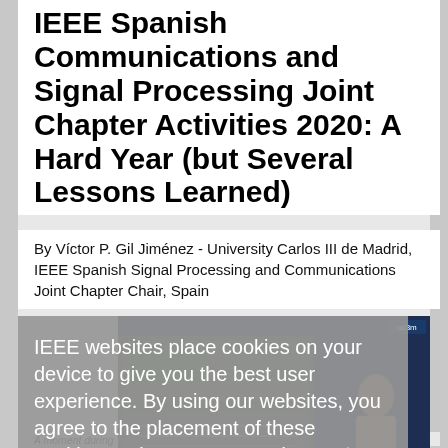IEEE Spanish Communications and Signal Processing Joint Chapter Activities 2020: A Hard Year (but Several Lessons Learned)
By Víctor P. Gil Jiménez - University Carlos III de Madrid, IEEE Spanish Signal Processing and Communications Joint Chapter Chair, Spain
IEEE websites place cookies on your device to give you the best user experience. By using our websites, you agree to the placement of these cookies. To learn more, read our Privacy Policy.
I see an opportunity for PLC !
Accept & Close
[Figure (photo): Screenshot of a video presentation. A person stands at a whiteboard/screen in front of a University Carlos III de Madrid (uc3m) branded background. Slide content is partially visible showing power line communications related imagery. Bottom bar reads: uc3m | Universidad Carlos III de Madrid.]
A moment during Technical Talk by Dr. Andrea Tonello.